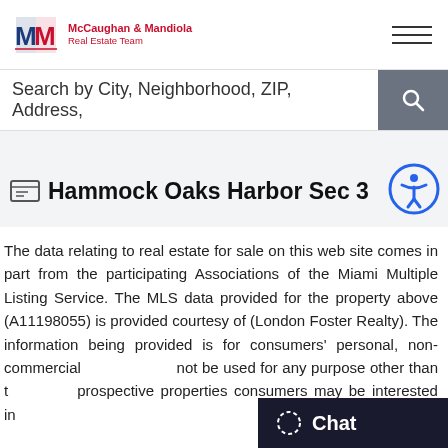McCaughan & Mandiola Real Estate Team
Search by City, Neighborhood, ZIP, Address,
Hammock Oaks Harbor Sec 3
The data relating to real estate for sale on this web site comes in part from the participating Associations of the Miami Multiple Listing Service. The MLS data provided for the property above (A11198055) is provided courtesy of (London Foster Realty). The information being provided is for consumers' personal, non-commercial use and may not be used for any purpose other than to identify prospective properties consumers may be interested in